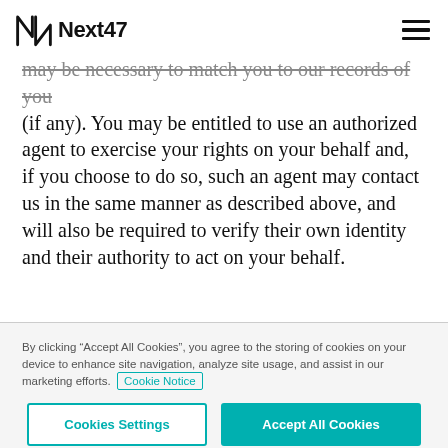Next47
may be necessary to match you to our records of you (if any). You may be entitled to use an authorized agent to exercise your rights on your behalf and, if you choose to do so, such an agent may contact us in the same manner as described above, and will also be required to verify their own identity and their authority to act on your behalf.
By clicking “Accept All Cookies”, you agree to the storing of cookies on your device to enhance site navigation, analyze site usage, and assist in our marketing efforts. Cookie Notice
Cookies Settings
Accept All Cookies